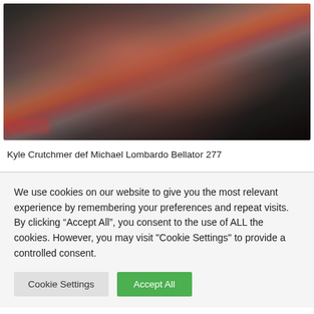[Figure (photo): MMA fight photo showing two fighters grappling on the ground, one wearing red gloves and red shorts, during Bellator 277]
Kyle Crutchmer def Michael Lombardo Bellator 277
We use cookies on our website to give you the most relevant experience by remembering your preferences and repeat visits. By clicking “Accept All”, you consent to the use of ALL the cookies. However, you may visit "Cookie Settings" to provide a controlled consent.
Cookie Settings | Accept All